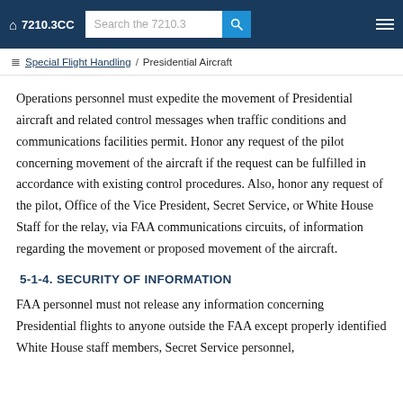7210.3CC   Search the 7210.3
Special Flight Handling / Presidential Aircraft
Operations personnel must expedite the movement of Presidential aircraft and related control messages when traffic conditions and communications facilities permit. Honor any request of the pilot concerning movement of the aircraft if the request can be fulfilled in accordance with existing control procedures. Also, honor any request of the pilot, Office of the Vice President, Secret Service, or White House Staff for the relay, via FAA communications circuits, of information regarding the movement or proposed movement of the aircraft.
5-1-4. SECURITY OF INFORMATION
FAA personnel must not release any information concerning Presidential flights to anyone outside the FAA except properly identified White House staff members, Secret Service personnel,